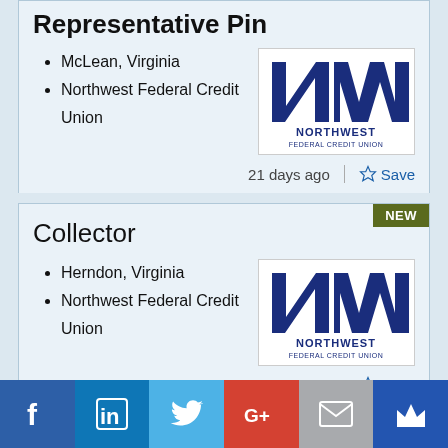Representative Pin
McLean, Virginia
Northwest Federal Credit Union
[Figure (logo): Northwest Federal Credit Union logo — NW letters in dark navy blue with 'NORTHWEST FEDERAL CREDIT UNION' text below]
21 days ago
Save
Collector
Herndon, Virginia
Northwest Federal Credit Union
[Figure (logo): Northwest Federal Credit Union logo — NW letters in dark navy blue with 'NORTHWEST FEDERAL CREDIT UNION' text below]
Save
[Figure (infographic): Social media sharing bar with Facebook, LinkedIn, Twitter, Google+, Email, and Crown icons]